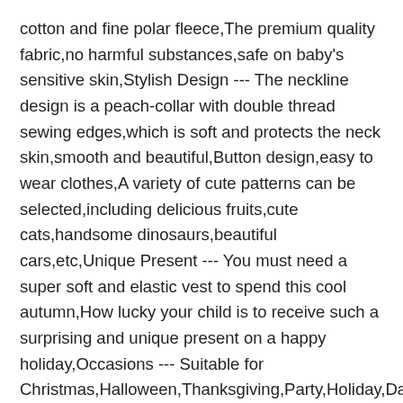cotton and fine polar fleece,The premium quality fabric,no harmful substances,safe on baby's sensitive skin,Stylish Design --- The neckline design is a peach-collar with double thread sewing edges,which is soft and protects the neck skin,smooth and beautiful,Button design,easy to wear clothes,A variety of cute patterns can be selected,including delicious fruits,cute cats,handsome dinosaurs,beautiful cars,etc,Unique Present --- You must need a super soft and elastic vest to spend this cool autumn,How lucky your child is to receive such a surprising and unique present on a happy holiday,Occasions --- Suitable for Christmas,Halloween,Thanksgiving,Party,Holiday,Daily,Photo and so on,Size --- Our vests are fit for 6-12M,12-24M,2-3T,3-4T,4-5T,5-6T unisex baby/toddler/infant/kid/children,Washing --- Wash the